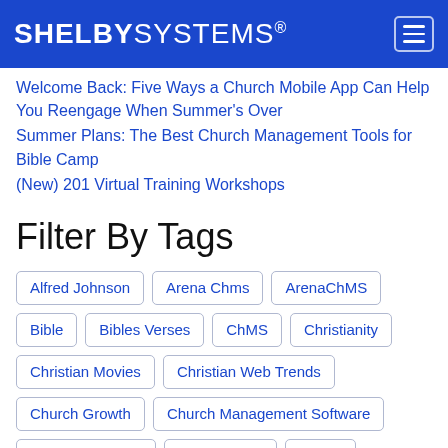SHELBY SYSTEMS®
Welcome Back: Five Ways a Church Mobile App Can Help You Reengage When Summer's Over
Summer Plans: The Best Church Management Tools for Bible Camp
(New) 201 Virtual Training Workshops
Filter By Tags
Alfred Johnson | Arena Chms | ArenaChMS | Bible | Bibles Verses | ChMS | Christianity | Christian Movies | Christian Web Trends | Church Growth | Church Management Software | Church Software | Conferences | Easter | Employee Spotlight | Facebook